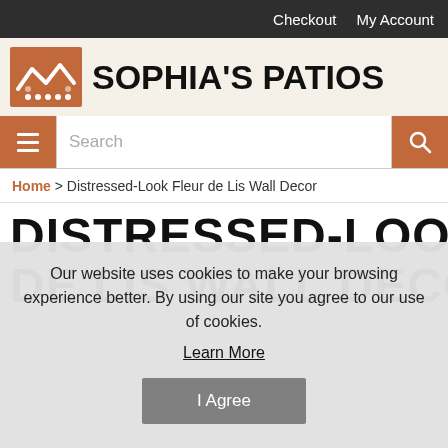Checkout  My Account
[Figure (logo): Sophia's Patios logo with orange house/mountain icon and bold text]
[Figure (other): Navigation search bar with hamburger menu icon on left and search magnifier button on right]
Home > Distressed-Look Fleur de Lis Wall Decor
DISTRESSED-LOOK FLEUR DE LIS WALL DECOR
Our website uses cookies to make your browsing experience better. By using our site you agree to our use of cookies.
Learn More
I Agree